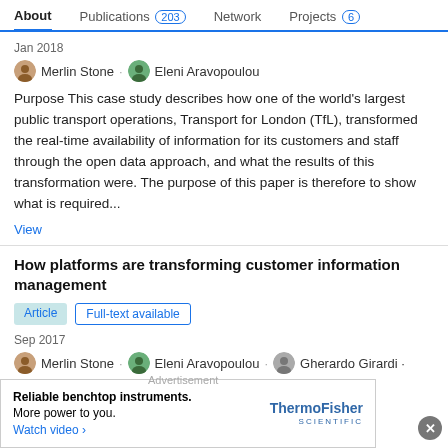About  Publications 203  Network  Projects 6
Jan 2018
Merlin Stone · Eleni Aravopoulou
Purpose This case study describes how one of the world's largest public transport operations, Transport for London (TfL), transformed the real-time availability of information for its customers and staff through the open data approach, and what the results of this transformation were. The purpose of this paper is therefore to show what is required...
View
How platforms are transforming customer information management
Article   Full-text available
Sep 2017
Merlin Stone · Eleni Aravopoulou · Gherardo Girardi ·
Advertisement
Reliable benchtop instruments.
More power to you.
Watch video ›